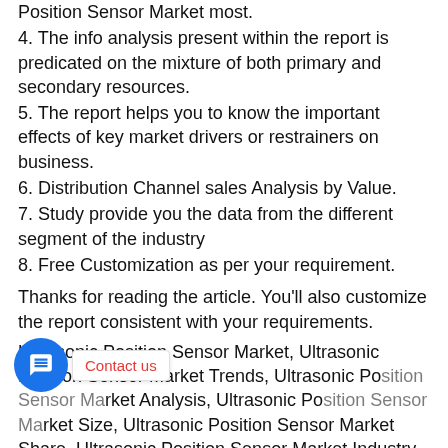Position Sensor Market most.
4. The info analysis present within the report is predicated on the mixture of both primary and secondary resources.
5. The report helps you to know the important effects of key market drivers or restrainers on business.
6. Distribution Channel sales Analysis by Value.
7. Study provide you the data from the different segment of the industry
8. Free Customization as per your requirement.
Thanks for reading the article. You'll also customize the report consistent with your requirements.
Ultrasonic Position Sensor Market, Ultrasonic Position Sensor Market Trends, Ultrasonic Position Sensor Market Analysis, Ultrasonic Position Sensor Market Size, Ultrasonic Position Sensor Market Share, Ultrasonic Position Sensor Market Industry, Ultrasonic